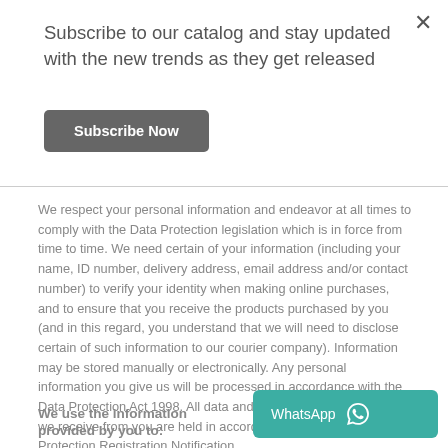Subscribe to our catalog and stay updated with the new trends as they get released
Subscribe Now
We respect your personal information and endeavor at all times to comply with the Data Protection legislation which is in force from time to time. We need certain of your information (including your name, ID number, delivery address, email address and/or contact number) to verify your identity when making online purchases, and to ensure that you receive the products purchased by you (and in this regard, you understand that we will need to disclose certain of such information to our courier company). Information may be stored manually or electronically. Any personal information you give us will be processed in accordance with the Data Protection Act 1998. All data and personal information that we receive from you are held in accordance with our Data Protection Registration Notification.
We use the information provided by you to: